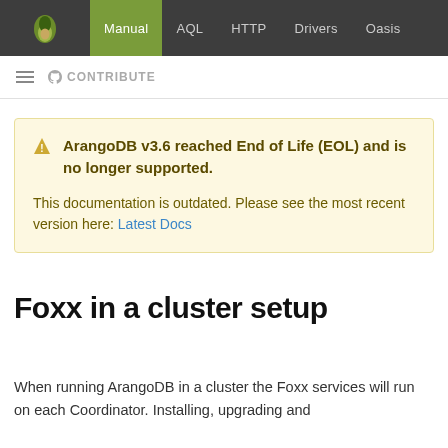Manual | AQL | HTTP | Drivers | Oasis
≡  CONTRIBUTE
⚠ ArangoDB v3.6 reached End of Life (EOL) and is no longer supported.

This documentation is outdated. Please see the most recent version here: Latest Docs
Foxx in a cluster setup
When running ArangoDB in a cluster the Foxx services will run on each Coordinator. Installing, upgrading and